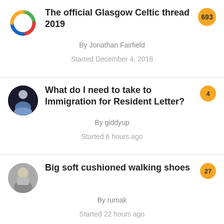The official Glasgow Celtic thread 2019 | By Jonathan Fairfield | Started December 4, 2018 | 693 replies
What do I need to take to Immigration for Resident Letter? | By giddyup | Started 6 hours ago | 4 replies
Big soft cushioned walking shoes | By rumak | Started 22 hours ago | 27 replies
Need Dental Implants But Have No Money? See Options
Dental implants | Search ads | Sponsored